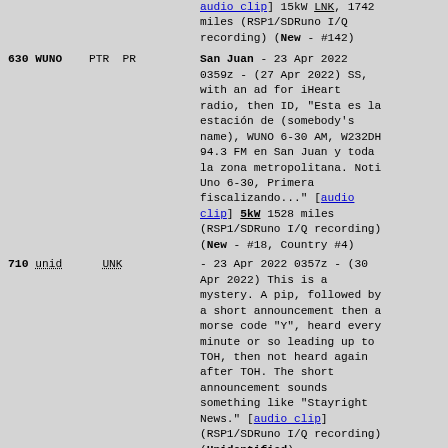(partial top) audio clip] 15kW LNK, 1742 miles (RSP1/SDRuno I/Q recording) (New - #142)
630 WUNO PTR PR - San Juan - 23 Apr 2022 0359z - (27 Apr 2022) SS, with an ad for iHeart radio, then ID, "Esta es la estación de (somebody's name), WUNO 6-30 AM, W232DH 94.3 FM en San Juan y toda la zona metropolitana. Noti Uno 6-30, Primera fiscalizando..." [audio clip] 5kW 1528 miles (RSP1/SDRuno I/Q recording) (New - #18, Country #4)
710 unid UNK - 23 Apr 2022 0357z - (30 Apr 2022) This is a mystery. A pip, followed by a short announcement then a morse code "Y", heard every minute or so leading up to TOH, then not heard again after TOH. The short announcement sounds something like "Stayright News." [audio clip] (RSP1/SDRuno I/Q recording) (Unidentified)
1410 WNGL USA AL - Mobile - 23 Apr 2022 0400z